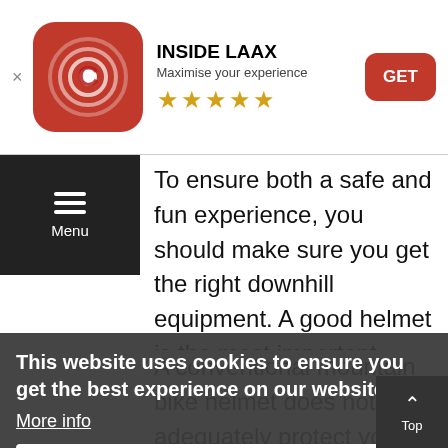[Figure (screenshot): App store banner showing INSIDE LAAX app with red icon, app name, tagline 'Maximise your experience', five gold stars, and a red GET button]
To ensure both a safe and fun experience, you should make sure you get the right downhill equipment. A good helmet is the most important thing. We strongly recommend that you use an integral, or full-face, helmet. A conventional mountain bike helmet does not adequately protect you from the high forces experienced in case of a fall. Downhill helmets are designed like motorcycle helmets, but are a lot lighter and
This website uses cookies to ensure you get the best experience on our website
More info
Got it!